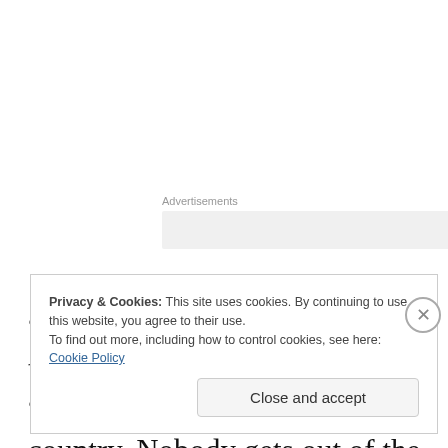Advertisements
“One train went over, the other train went under,” he answered. “This is the Over and Under country. Nobody gets out of the way of anybody else. They either go over or under.”
Privacy & Cookies: This site uses cookies. By continuing to use this website, you agree to their use.
To find out more, including how to control cookies, see here: Cookie Policy
Close and accept